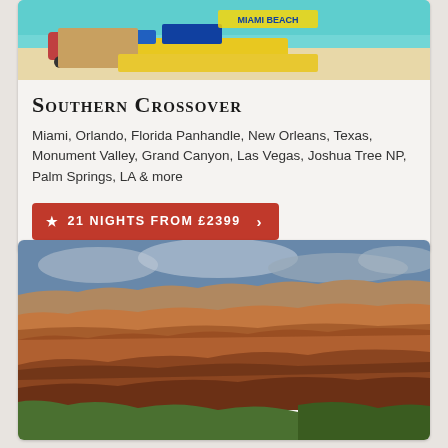[Figure (photo): Miami Beach scene with vehicles and lifeguard stand on a sandy beach with turquoise water]
Southern Crossover
Miami, Orlando, Florida Panhandle, New Orleans, Texas, Monument Valley, Grand Canyon, Las Vegas, Joshua Tree NP, Palm Springs, LA & more
★ 21 NIGHTS FROM £2399 →
[Figure (photo): Grand Canyon panoramic view showing red rock formations, canyon layers and blue sky with clouds]